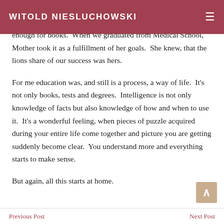WITOLD NIESLUCHOWSKI
bother us when we were studying.  I remember Mother giving us books as presents.  Money was scarce, but there was always enough for books.  When we graduated from Medical School, Mother took it as a fulfillment of her goals.  She knew, that the lions share of our success was hers.
For me education was, and still is a process, a way of life.  It's not only books, tests and degrees.  Intelligence is not only knowledge of facts but also knowledge of how and when to use it.  It's a wonderful feeling, when pieces of puzzle acquired during your entire life come together and picture you are getting suddenly become clear.  You understand more and everything starts to make sense.
But again, all this starts at home.
Previous Post    Next Post